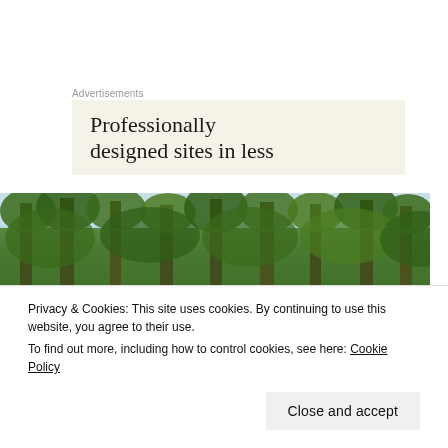Advertisements
[Figure (other): Advertisement banner with cream/beige background showing text 'Professionally designed sites in less']
[Figure (photo): Forest photo showing tall pine/fir trees with green canopy against a bright sky]
Privacy & Cookies: This site uses cookies. By continuing to use this website, you agree to their use.
To find out more, including how to control cookies, see here: Cookie Policy
Close and accept